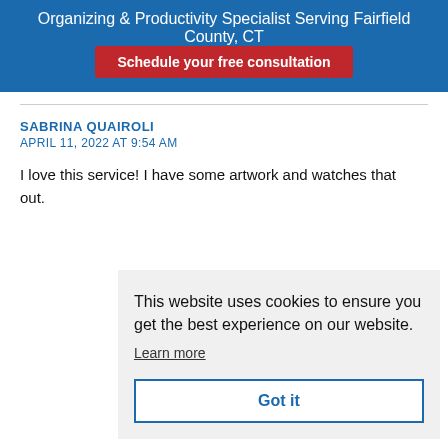Organizing & Productivity Specialist Serving Fairfield County, CT
Schedule your free consultation
SABRINA QUAIROLI
APRIL 11, 2022 AT 9:54 AM
I love this service! I have some artwork and watches that out.
This website uses cookies to ensure you get the best experience on our website. Learn more
Got it